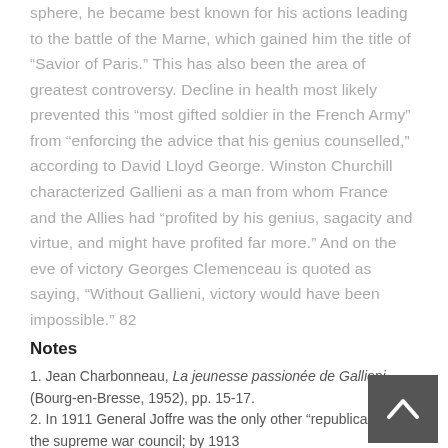sphere, he became best known for his actions leading to the battle of the Marne, which gained him the title of “Savior of Paris.” This has also been the area of greatest controversy. Decline in health most likely prevented this “most gifted soldier in the French Army” from “enforcing the advice that his genius counselled,” according to David Lloyd George. Winston Churchill characterized Gallieni as a man from whom France and the Allies had “profited by his genius, sagacity and virtue, and might have profited far more.” And on the eve of victory Georges Clemenceau is quoted as saying, “Without Gallieni, victory would have been impossible.” 82
Notes
1. Jean Charbonneau, La jeunesse passionée de Gallieni (Bourg-en-Bresse, 1952), pp. 15-17.
2. In 1911 General Joffre was the only other “republican” on the supreme war council; by 1913